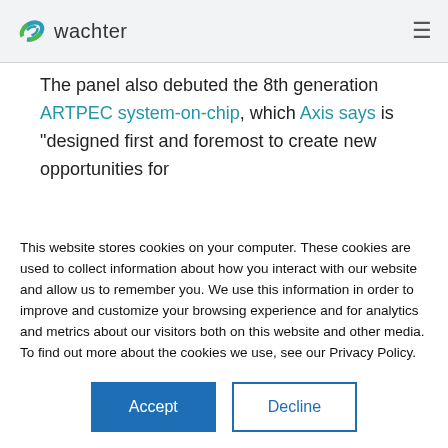wachter
The panel also debuted the 8th generation ARTPEC system-on-chip, which Axis says is "designed first and foremost to create new opportunities for
This website stores cookies on your computer. These cookies are used to collect information about how you interact with our website and allow us to remember you. We use this information in order to improve and customize your browsing experience and for analytics and metrics about our visitors both on this website and other media. To find out more about the cookies we use, see our Privacy Policy.